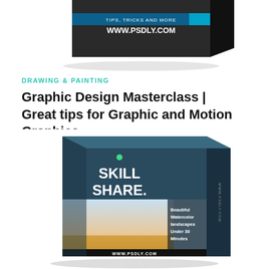[Figure (illustration): Top portion of a dark software box mockup showing 'WWW.PSDLY.COM' text and 'TIPS, TRICKS AND MORE' label on a dark/black box]
DRAWING & PAINTING
Graphic Design Masterclass | Great tips for Graphic and Motion Graphics
[Figure (illustration): Skillshare course box mockup showing dark teal top half with 'SKILL SHARE.' logo and green dot, bottom half showing a landscape watercolor image with text 'Beautiful Watercolor Landscapes Under 30 Minutes', side spine reads 'WWW.PSDLY.COM', bottom reads 'WWW.PSDLY.COM']